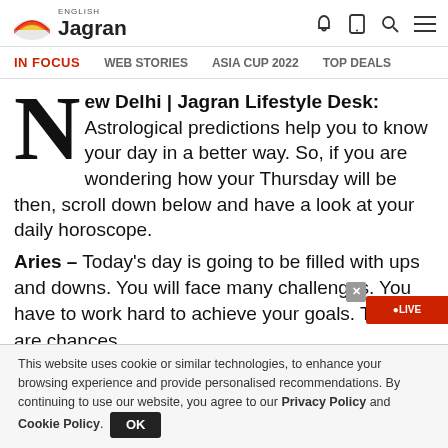ENGLISH Jagran
IN FOCUS   WEB STORIES   ASIA CUP 2022   TOP DEALS
New Delhi | Jagran Lifestyle Desk: Astrological predictions help you to know your day in a better way. So, if you are wondering how your Thursday will be then, scroll down below and have a look at your daily horoscope.
Aries - Today's day is going to be filled with ups and downs. You will face many challenges. You have to work hard to achieve your goals. There are chances
This website uses cookie or similar technologies, to enhance your browsing experience and provide personalised recommendations. By continuing to use our website, you agree to our Privacy Policy and Cookie Policy.  OK